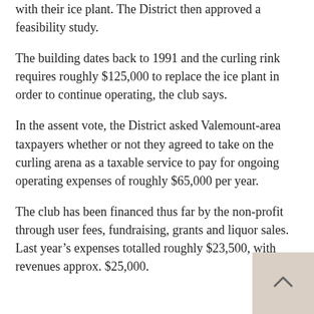with their ice plant. The District then approved a feasibility study.
The building dates back to 1991 and the curling rink requires roughly $125,000 to replace the ice plant in order to continue operating, the club says.
In the assent vote, the District asked Valemount-area taxpayers whether or not they agreed to take on the curling arena as a taxable service to pay for ongoing operating expenses of roughly $65,000 per year.
The club has been financed thus far by the non-profit through user fees, fundraising, grants and liquor sales. Last year's expenses totalled roughly $23,500, with revenues approx. $25,000.